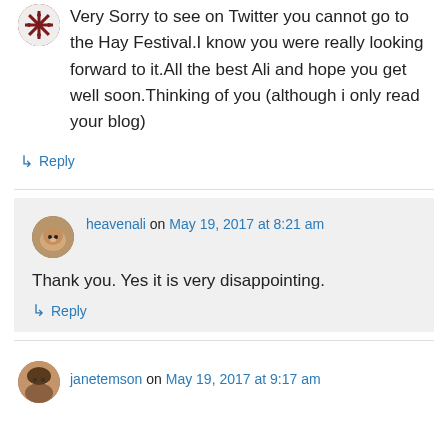Very Sorry to see on Twitter you cannot go to the Hay Festival.I know you were really looking forward to it.All the best Ali and hope you get well soon.Thinking of you (although i only read your blog)
↳ Reply
heavenali on May 19, 2017 at 8:21 am
Thank you. Yes it is very disappointing.
↳ Reply
janetemson on May 19, 2017 at 9:17 am